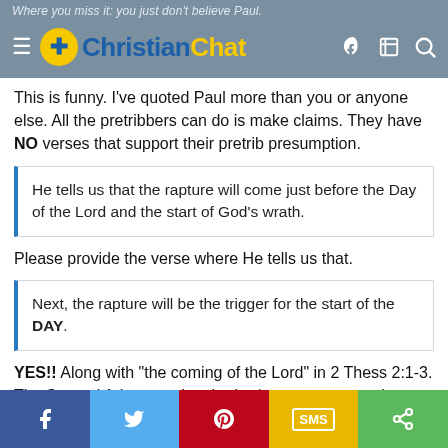Where you miss it: you just don't believe Paul. | ChristianChat
This is funny. I've quoted Paul more than you or anyone else. All the pretribbers can do is make claims. They have NO verses that support their pretrib presumption.
He tells us that the rapture will come just before the Day of the Lord and the start of God's wrath.
Please provide the verse where He tells us that.
Next, the rapture will be the trigger for the start of the DAY.
YES!! Along with "the coming of the Lord" in 2 Thess 2:1-3. The Second Advent and gathering/rapture occur at the same event.
f | Twitter | Pinterest | SMS | Share